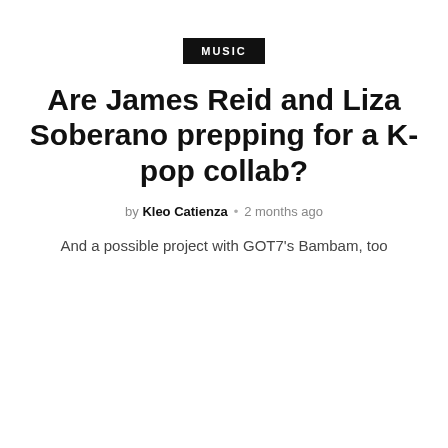MUSIC
Are James Reid and Liza Soberano prepping for a K-pop collab?
by Kleo Catienza • 2 months ago
And a possible project with GOT7's Bambam, too